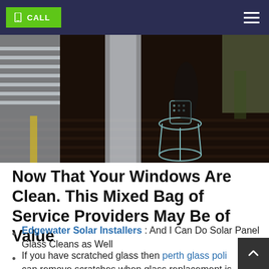CALL [navigation bar with call button and hamburger menu]
[Figure (photo): Photograph of a glass window/door with reflections showing a small round side table with a decorative item on top, on a wooden deck with outdoor surroundings visible.]
Now That Your Windows Are Clean. This Mixed Bag of Service Providers May Be of Value
Edgewater Solar Installers : And I Can Do Solar Panel Glass Cleans as Well
If you have scratched glass then perth glass poli can remove scratches when glass replacement is